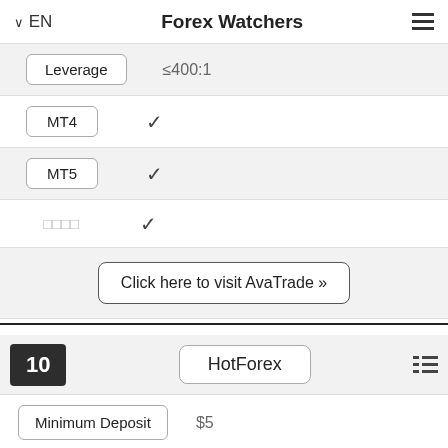EN  Forex Watchers
| Label | Value |
| --- | --- |
| Leverage | ≤400:1 |
| MT4 | ✓ |
| MT5 | ✓ |
| □□□□ | ✓ |
Click here to visit AvaTrade »
10  HotForex
| Label | Value |
| --- | --- |
| Minimum Deposit | $5 |
| Leverage | ≤1000:1 |